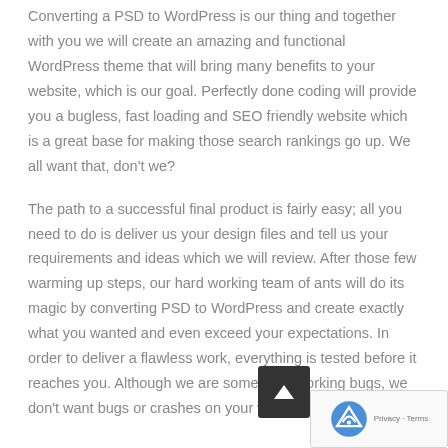Converting a PSD to WordPress is our thing and together with you we will create an amazing and functional WordPress theme that will bring many benefits to your website, which is our goal. Perfectly done coding will provide you a bugless, fast loading and SEO friendly website which is a great base for making those search rankings go up. We all want that, don't we?
The path to a successful final product is fairly easy; all you need to do is deliver us your design files and tell us your requirements and ideas which we will review. After those few warming up steps, our hard working team of ants will do its magic by converting PSD to WordPress and create exactly what you wanted and even exceed your expectations. In order to deliver a flawless work, everything is tested before it reaches you. Although we are some hard working bugs, we don't want bugs or crashes on your website.